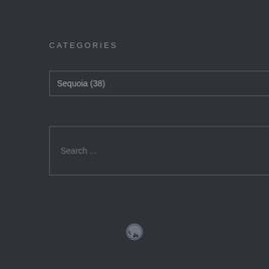CATEGORIES
Sequoia  (38)
Search ...
[Figure (logo): WordPress logo icon at the bottom center of the page]